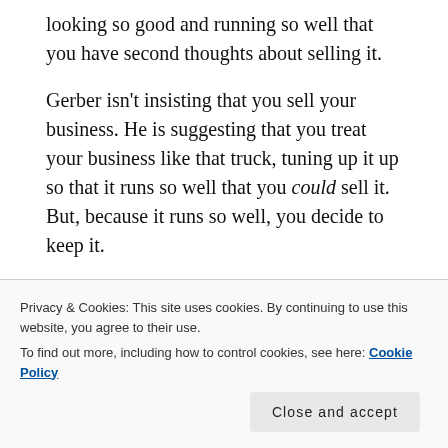looking so good and running so well that you have second thoughts about selling it.
Gerber isn't insisting that you sell your business. He is suggesting that you treat your business like that truck, tuning up it up so that it runs so well that you could sell it. But, because it runs so well, you decide to keep it.
Most ranches are not sold as businesses. They are sold as collections of very expensive assets. A business is more than the hard assets it owns. A business includes the systems through which those assets are used to
Privacy & Cookies: This site uses cookies. By continuing to use this website, you agree to their use.
To find out more, including how to control cookies, see here: Cookie Policy